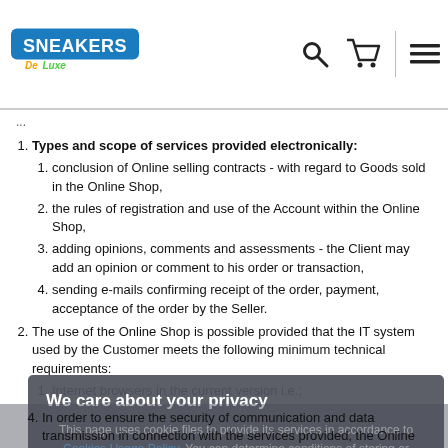[Figure (logo): Sneakers De Luxe logo — colorful stylized text on blue/green background]
Types and scope of services provided electronically:
conclusion of Online selling contracts - with regard to Goods sold in the Online Shop,
the rules of registration and use of the Account within the Online Shop,
adding opinions, comments and assessments - the Client may add an opinion or comment to his order or transaction,
sending e-mails confirming receipt of the order, payment, acceptance of the order by the Seller.
The use of the Online Shop is possible provided that the IT system used by the Customer meets the following minimum technical requirements:
Internet browsers in the current version i.e.;
We care about your privacy. This page uses cookie files to provide its services in accordance to Cookies Usage Policy. You can determine conditions of storing or access to cookie files in your web browser.
In order to ensure the security of communication and data transmission in connection with the services provided, the Online